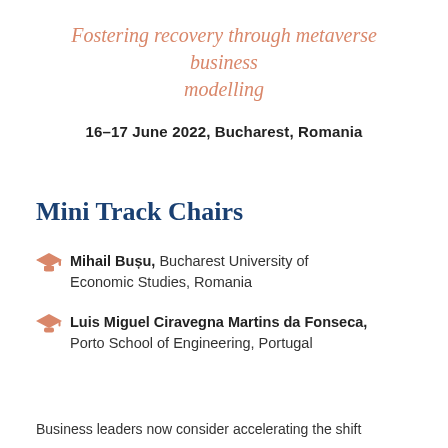Fostering recovery through metaverse business modelling
16–17 June 2022, Bucharest, Romania
Mini Track Chairs
Mihail Bușu, Bucharest University of Economic Studies, Romania
Luis Miguel Ciravegna Martins da Fonseca, Porto School of Engineering, Portugal
Business leaders now consider accelerating the shift